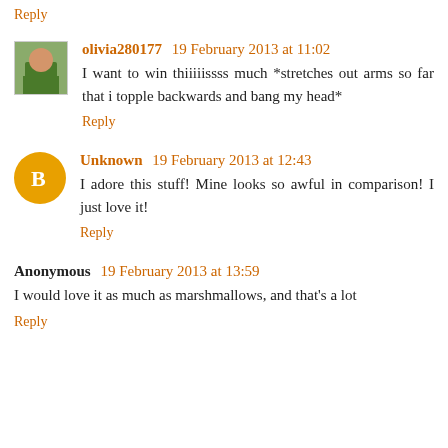Reply
olivia280177  19 February 2013 at 11:02
I want to win thiiiiissss much *stretches out arms so far that i topple backwards and bang my head*
Reply
Unknown  19 February 2013 at 12:43
I adore this stuff! Mine looks so awful in comparison! I just love it!
Reply
Anonymous  19 February 2013 at 13:59
I would love it as much as marshmallows, and that's a lot
Reply